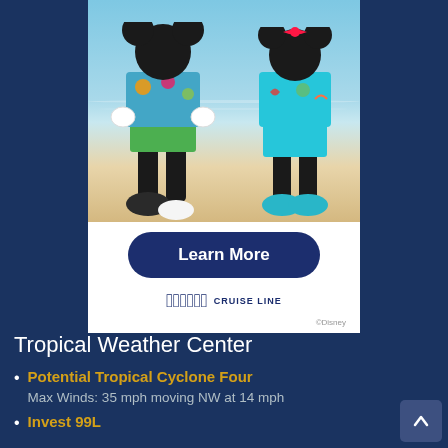[Figure (photo): Disney Cruise Line advertisement showing two Disney characters (Mickey and Minnie Mouse) in colorful beach attire standing on a beach, with a 'Learn More' button and Disney Cruise Line logo below.]
Tropical Weather Center
Potential Tropical Cyclone Four
Max Winds: 35 mph moving NW at 14 mph
Invest 99L